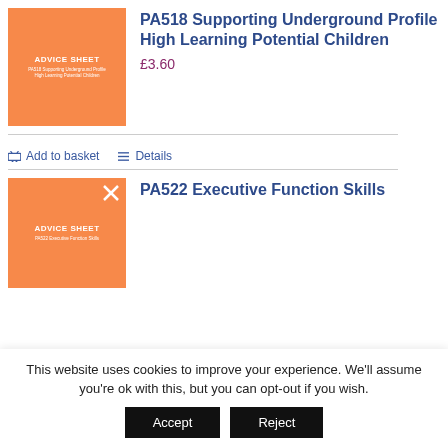[Figure (illustration): Orange advice sheet product image with white text 'ADVICE SHEET' and subtitle 'PA518 Supporting Underground Profile High Learning Potential Children']
PA518 Supporting Underground Profile High Learning Potential Children
£3.60
Add to basket   Details
[Figure (illustration): Orange advice sheet product image with white text 'ADVICE SHEET' and subtitle 'PA522 Executive Function Skills']
PA522 Executive Function Skills
This website uses cookies to improve your experience. We'll assume you're ok with this, but you can opt-out if you wish.
Accept   Reject